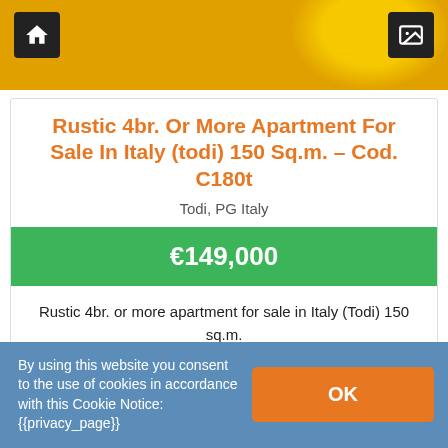[Figure (photo): Header photo strip showing sunflower and garden/greenery background with dark icon buttons for home and gallery]
Rustic 4br. Or More Apartment For Sale In Italy (todi) 150 Sq.m. – Cod. C180t
Todi, PG Italy
€149,000
Rustic 4br. or more apartment for sale in Italy (Todi) 150 sq.m.
Cod: C180T TODI – at a few km, a 150 sqm characteristic...
m² 150
By using this website you consent to the use of cookies in accordance with this Cookie Notice: {{privacy_page}}